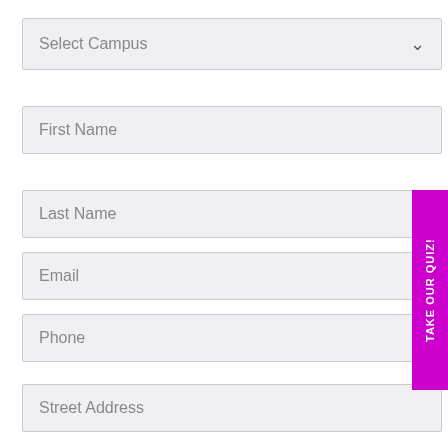Select Campus
First Name
Last Name
Email
Phone
Street Address
Street Address 2
[Figure (screenshot): TAKE OUR QUIZ! side tab button in magenta/purple on the right edge of the page]